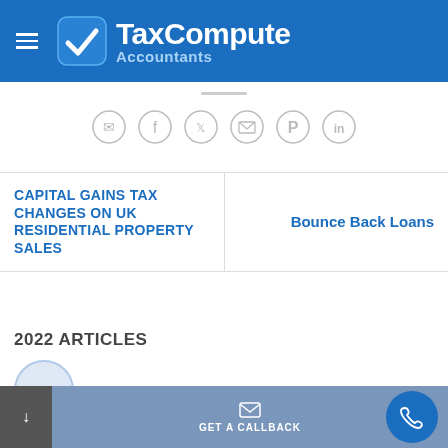[Figure (logo): TaxCompute Accountants logo with blue checkmark icon on blue banner header with hamburger menu]
[Figure (infographic): Social share icons row: WhatsApp, Facebook, Twitter, Email, Pinterest, LinkedIn - circular outlined icons]
CAPITAL GAINS TAX CHANGES ON UK RESIDENTIAL PROPERTY SALES
Bounce Back Loans
2022 ARTICLES
[Figure (infographic): Bottom navigation bar with GET A CALLBACK text and phone button]
[Figure (infographic): Circular article thumbnail partially visible]